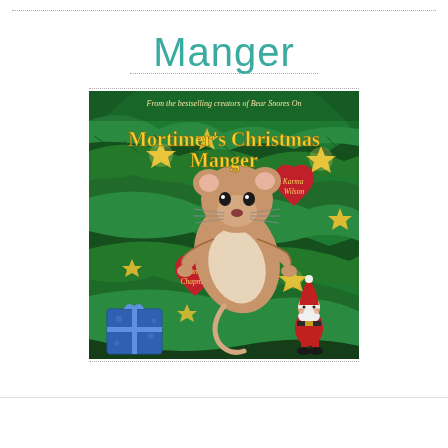Manger
[Figure (illustration): Book cover of 'Mortimer's Christmas Manger' by Karma Wilson and Jane Chapman. Shows a cartoon mouse nestled in green Christmas tree branches with gold stars, red heart ornaments, a small Santa figurine, and blue wrapped gifts. Text reads 'From the bestselling creators of Bear Snores On' at the top.]